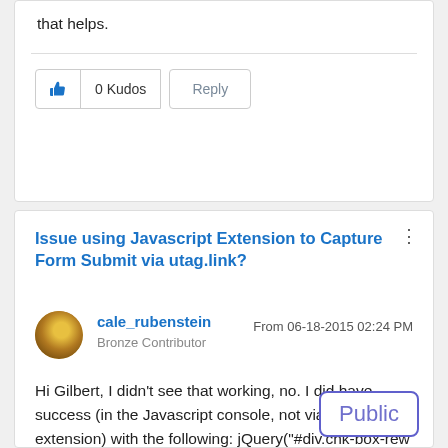that helps.
0 Kudos
Reply
Issue using Javascript Extension to Capture Form Submit via utag.link?
From 06-18-2015 02:24 PM
cale_rubenstein
Bronze Contributor
Hi Gilbert, I didn't see that working, no. I did have success (in the Javascript console, not via an extension) with the following: jQuery("#div.chk-box-rew up-form-wrapper").on("submit", 'chk-info-form …